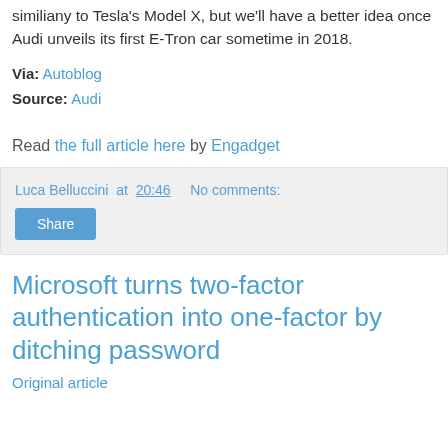similiany to Tesla's Model X, but we'll have a better idea once Audi unveils its first E-Tron car sometime in 2018.
Via: Autoblog
Source: Audi
Read the full article here by Engadget
Luca Belluccini at 20:46   No comments:
Share
Microsoft turns two-factor authentication into one-factor by ditching password
Original article